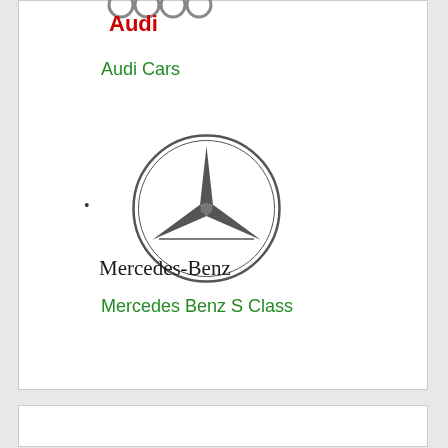[Figure (logo): Audi four-rings logo (partially visible at top)]
Audi
Audi Cars
[Figure (logo): Mercedes-Benz three-pointed star in circle logo]
Mercedes-Benz
Mercedes Benz S Class